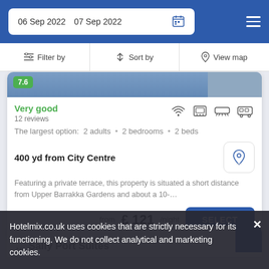06 Sep 2022  07 Sep 2022
Filter by  Sort by  View map
Very good
12 reviews
The largest option:  2 adults • 2 bedrooms • 2 beds
400 yd from City Centre
Featuring a private terrace, this property is situated a short distance from Upper Barrakka Gardens and about a 10-...
from £ 121/night
SELECT
Sally Port Suites
Hotelmix.co.uk uses cookies that are strictly necessary for its functioning. We do not collect analytical and marketing cookies.